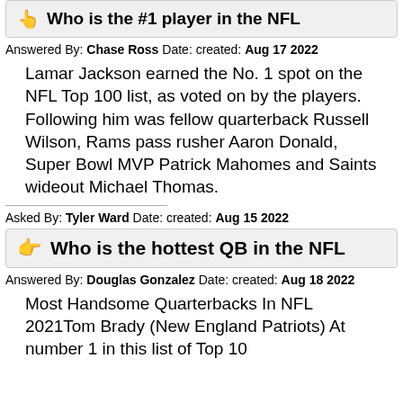Who is the #1 player in the NFL
Answered By: Chase Ross Date: created: Aug 17 2022
Lamar Jackson earned the No. 1 spot on the NFL Top 100 list, as voted on by the players. Following him was fellow quarterback Russell Wilson, Rams pass rusher Aaron Donald, Super Bowl MVP Patrick Mahomes and Saints wideout Michael Thomas.
Asked By: Tyler Ward Date: created: Aug 15 2022
Who is the hottest QB in the NFL
Answered By: Douglas Gonzalez Date: created: Aug 18 2022
Most Handsome Quarterbacks In NFL 2021Tom Brady (New England Patriots) At number 1 in this list of Top 10